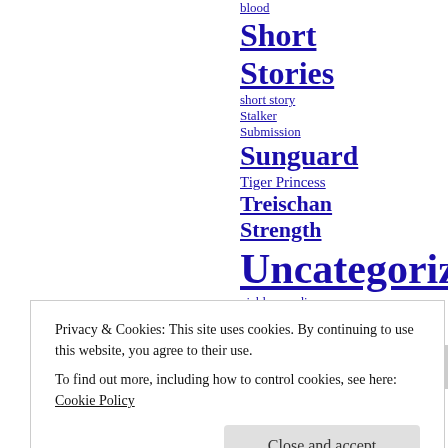blood
Short Stories
short story
Stalker
Submission
Sunguard
Tiger Princess
Treischan Strength
Uncategorized
viable paradise
Watering the Black Violas
Winter
Privacy & Cookies: This site uses cookies. By continuing to use this website, you agree to their use.
To find out more, including how to control cookies, see here: Cookie Policy
Close and accept